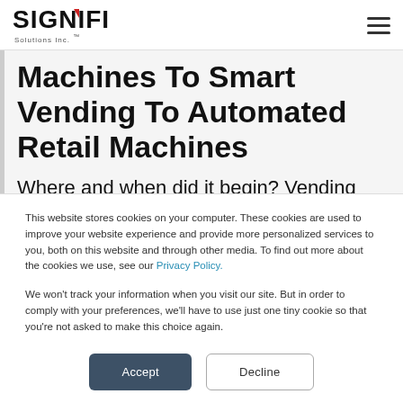SIGNIFI Solutions Inc.™
Machines To Smart Vending To Automated Retail Machines
Where and when did it begin? Vending
This website stores cookies on your computer. These cookies are used to improve your website experience and provide more personalized services to you, both on this website and through other media. To find out more about the cookies we use, see our Privacy Policy.
We won't track your information when you visit our site. But in order to comply with your preferences, we'll have to use just one tiny cookie so that you're not asked to make this choice again.